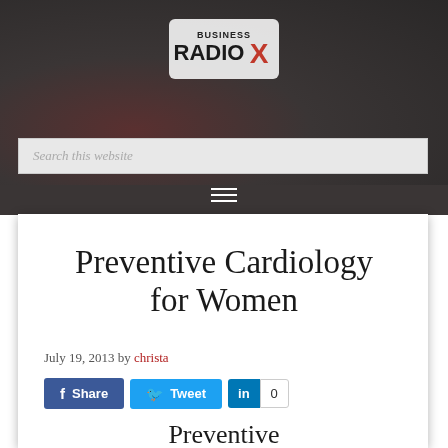[Figure (logo): Business Radio X logo — white text 'BUSINESS RADIO' with red X mark]
Search this website
Preventive Cardiology for Women
July 19, 2013 by christa
Share  Tweet  0
Preventive